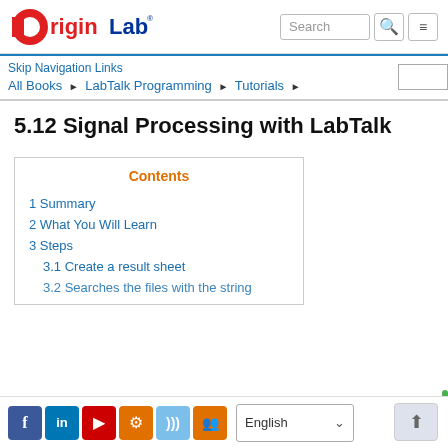OriginLab - Search
Skip Navigation Links
All Books ▶ LabTalk Programming ▶ Tutorials ▶
5.12 Signal Processing with LabTalk
Contents
1 Summary
2 What You Will Learn
3 Steps
3.1 Create a result sheet
3.2 Searches the files with the string
Facebook LinkedIn YouTube Settings RSS Group | English